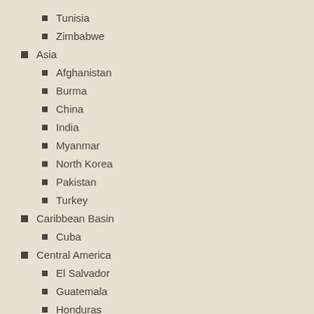Tunisia
Zimbabwe
Asia
Afghanistan
Burma
China
India
Myanmar
North Korea
Pakistan
Turkey
Caribbean Basin
Cuba
Central America
El Salvador
Guatemala
Honduras
Mexico